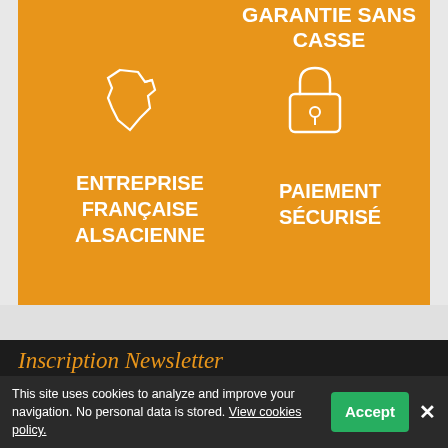GARANTIE SANS CASSE
[Figure (illustration): White outline icon of France map shape on orange background]
[Figure (illustration): White outline icon of a padlock on orange background]
ENTREPRISE FRANÇAISE ALSACIENNE
PAIEMENT SÉCURISÉ
Inscription Newsletter
Des cadeaux, des promos dans votre boite m...ici que ca se passe !!
This site uses cookies to analyze and improve your navigation. No personal data is stored. View cookies policy.